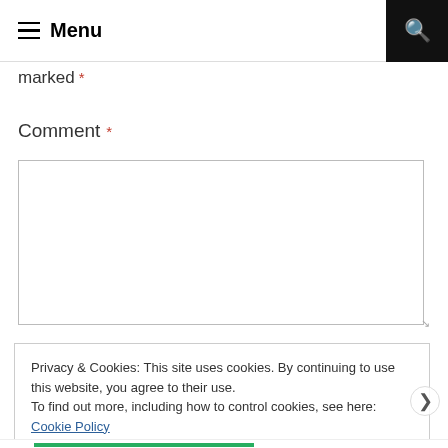Menu
marked *
Comment *
Privacy & Cookies: This site uses cookies. By continuing to use this website, you agree to their use.
To find out more, including how to control cookies, see here: Cookie Policy
Close and accept